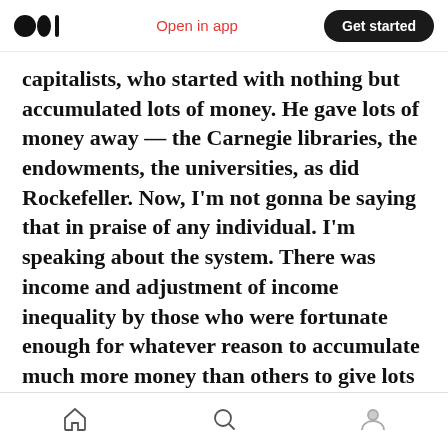Open in app | Get started
capitalists, who started with nothing but accumulated lots of money. He gave lots of money away — the Carnegie libraries, the endowments, the universities, as did Rockefeller. Now, I'm not gonna be saying that in praise of any individual. I'm speaking about the system. There was income and adjustment of income inequality by those who were fortunate enough for whatever reason to accumulate much more money than others to give lots of it away.
Warren Buffett and Bill Gates famously have
Home | Search | Profile